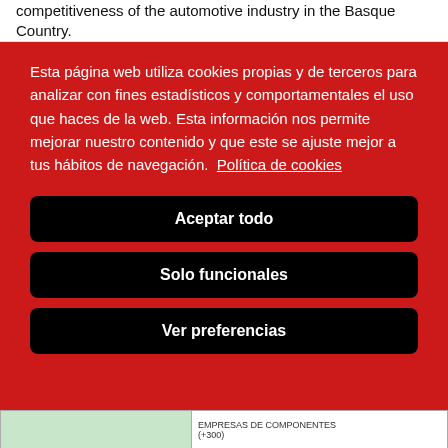competitiveness of the automotive industry in the Basque Country.
Esta página web utiliza cookies propias y de terceros para analizar con fines estadísticos y comportamentales el uso que haces de la web. Esta información nos permite mejorar nuestro contenido y que este se ajuste mejor a tus hábitos de navegación.  Política de cookies
Aceptar todo
Solo funcionales
Ver preferencias
EMPRESAS DE COMPONENTES (+300)